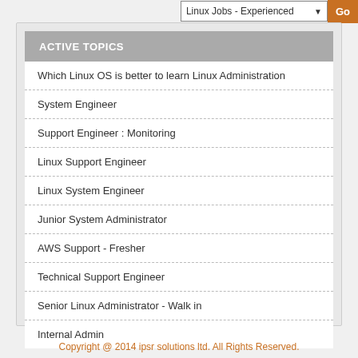ACTIVE TOPICS
Which Linux OS is better to learn Linux Administration
System Engineer
Support Engineer : Monitoring
Linux Support Engineer
Linux System Engineer
Junior System Administrator
AWS Support - Fresher
Technical Support Engineer
Senior Linux Administrator - Walk in
Internal Admin
Copyright @ 2014 ipsr solutions ltd. All Rights Reserved.